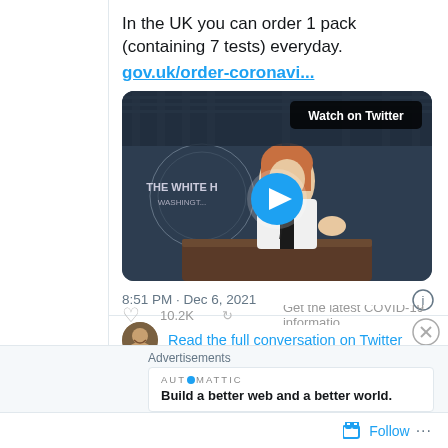In the UK you can order 1 pack (containing 7 tests) everyday.
gov.uk/order-coronavi...
[Figure (screenshot): Video thumbnail showing a woman at a White House briefing podium with a play button overlay and 'Watch on Twitter' badge]
8:51 PM · Dec 6, 2021
Read the full conversation on Twitter
Advertisements
AUTOMATTIC
Build a better web and a better world.